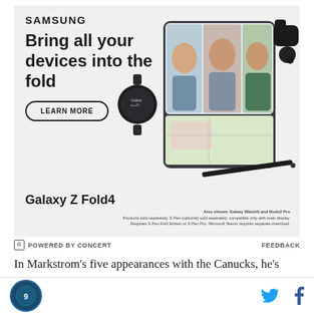[Figure (illustration): Samsung advertisement for Galaxy Z Fold4. Shows Samsung logo, headline 'Bring all your devices into the fold', a 'LEARN MORE' button, images of Galaxy Z Fold4 phone with video call on screen, a Galaxy Watch5, Galaxy Buds2 Pro earbuds, and an S Pen stylus. Product name 'Galaxy Z Fold4' shown bottom left. Fine print: 'Also shown: Galaxy Watch5 and Buds2 Pro. Products sold separately. S Pen (optional) sold separately, compatible only with main display. Requires S Pen Fold Edition or S Pen Pro. Microsoft Teams requires separate download.']
POWERED BY CONCERT   FEEDBACK
In Markstrom's five appearances with the Canucks, he's given up 13 goals and has a save percentage of
[Figure (logo): Site logo circular badge]
[Figure (illustration): Twitter bird icon and Facebook f icon for social sharing]